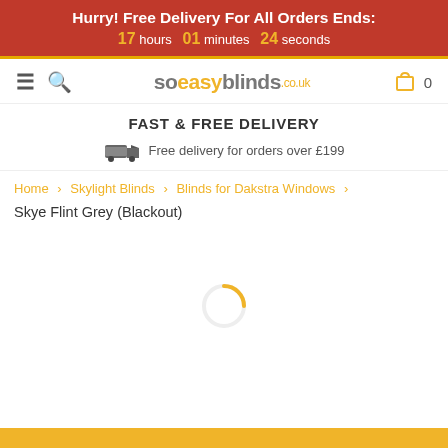Hurry! Free Delivery For All Orders Ends: 17 hours 01 minutes 24 seconds
[Figure (logo): soeasyblinds.co.uk logo with hamburger menu and search icons on left, shopping bag icon and 0 on right]
FAST & FREE DELIVERY
Free delivery for orders over £199
Home > Skylight Blinds > Blinds for Dakstra Windows >
Skye Flint Grey (Blackout)
[Figure (other): Loading spinner arc in orange/amber color]